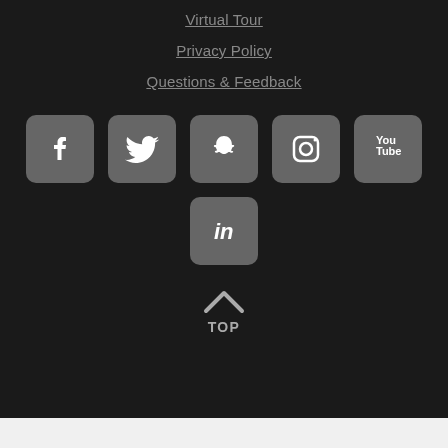Virtual Tour
Privacy Policy
Questions & Feedback
[Figure (infographic): Social media icons: Facebook, Twitter, Snapchat, Instagram, YouTube, LinkedIn]
TOP